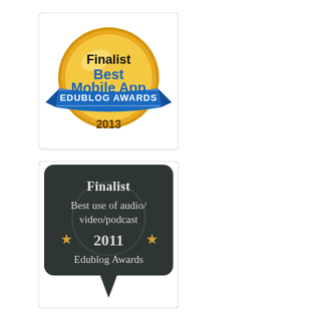[Figure (illustration): Gold medal badge with text 'Finalist Best Mobile App' and blue ribbon reading 'EDUBLOG AWARDS 2013']
[Figure (illustration): Dark chalkboard speech bubble badge with text 'Finalist Best use of audio/video/podcast 2011 Edublog Awards' with star decorations]